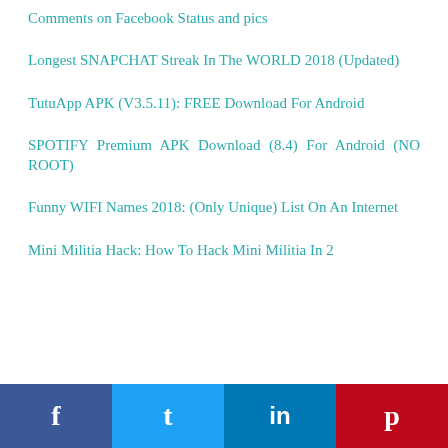Comments on Facebook Status and pics
Longest SNAPCHAT Streak In The WORLD 2018 (Updated)
TutuApp APK (V3.5.11): FREE Download For Android
SPOTIFY Premium APK Download (8.4) For Android (NO ROOT)
Funny WIFI Names 2018: (Only Unique) List On An Internet
Mini Militia Hack: How To Hack Mini Militia In 2 Mi…